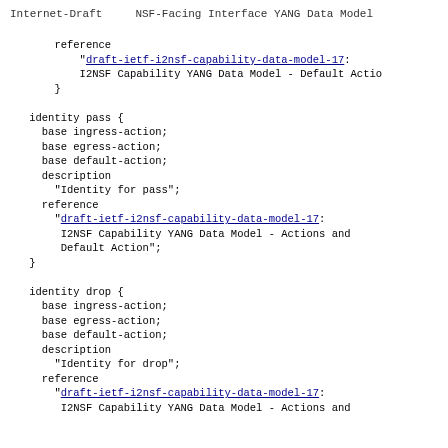Internet-Draft      NSF-Facing Interface YANG Data Model
reference
            "draft-ietf-i2nsf-capability-data-model-17:
            I2NSF Capability YANG Data Model - Default Actio
        }
identity pass {
      base ingress-action;
      base egress-action;
      base default-action;
      description
        "Identity for pass";
      reference
        "draft-ietf-i2nsf-capability-data-model-17:
         I2NSF Capability YANG Data Model - Actions and
         Default Action";
    }
identity drop {
      base ingress-action;
      base egress-action;
      base default-action;
      description
        "Identity for drop";
      reference
        "draft-ietf-i2nsf-capability-data-model-17:
         I2NSF Capability YANG Data Model - Actions and